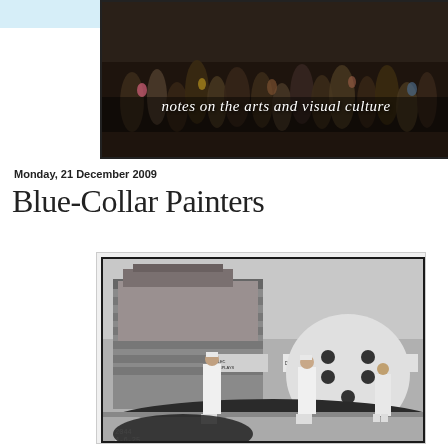notes on the arts and visual culture
Monday, 21 December 2009
Blue-Collar Painters
[Figure (photo): Black and white historical photograph showing men in white uniforms standing next to a large painted display float or exhibition. Signs visible read 'OUTDOOR DISPLAYS', 'PAINTED DISPLAYS', 'ELECTRIC DISPLAYS'. A large painted spotted shape (like a giant domino or dice) is visible on the right. Date stamp reads 4-6-25.]